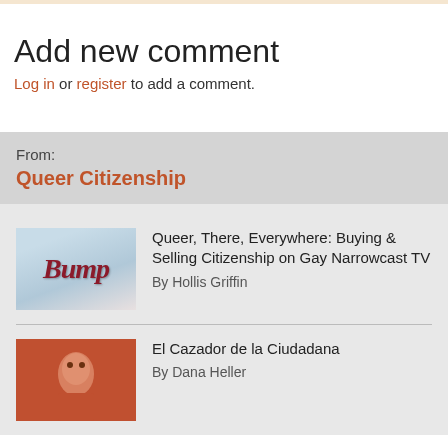Add new comment
Log in or register to add a comment.
From:
Queer Citizenship
Queer, There, Everywhere: Buying & Selling Citizenship on Gay Narrowcast TV
By Hollis Griffin
El Cazador de la Ciudadana
By Dana Heller